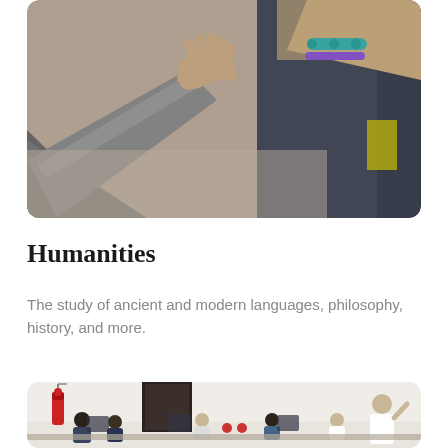[Figure (photo): Two people giving a high-five, one wearing a teal/green beaded bracelet and a purple bracelet, one in a grey long-sleeve shirt. Close-up shot from above, warm blurred background.]
Humanities
The study of ancient and modern languages, philosophy, history, and more.
[Figure (photo): A classroom scene with multiple people seated at computers/desks, a fire extinguisher on the left wall, a dark door in the background, and a standing person on the right side.]